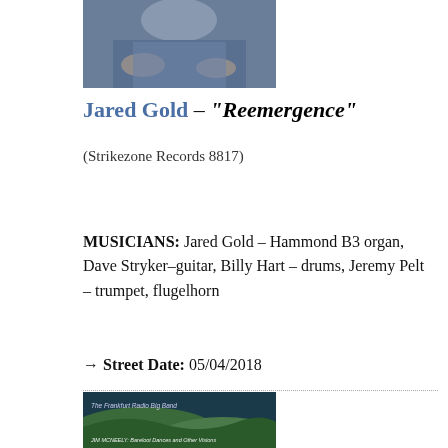[Figure (photo): Partial photograph of a person in a blue shirt, cropped at top of page]
Jared Gold – "Reemergence"
(Strikezone Records 8817)
MUSICIANS: Jared Gold – Hammond B3 organ, Dave Stryker–guitar, Billy Hart – drums, Jeremy Pelt – trumpet, flugelhorn
→ Street Date: 05/04/2018
[Figure (photo): Album cover for Jim McNeely: Bareloot Dances and Other Visions by The Frankfurt Radio Big Band, showing a green landscape]